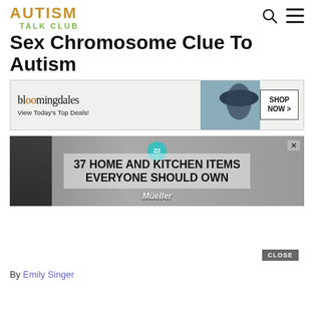AUTISM TALK CLUB
Sex Chromosome Clue To Autism
[Figure (screenshot): Bloomingdales advertisement banner: 'bloomingdales - View Today's Top Deals!' with SHOP NOW button and woman in hat image]
[Figure (screenshot): Advertisement: '37 HOME AND KITCHEN ITEMS EVERYONE SHOULD OWN' with badge '22' and Mueller branding]
By Emily Singer
[Figure (screenshot): MAC cosmetics advertisement with lipsticks and SHOP NOW button]
A sma... ...e the